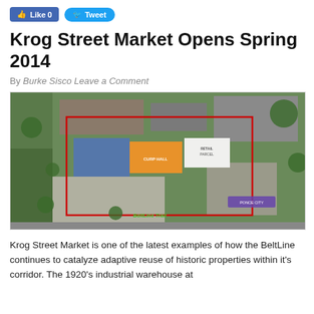Like 0  Tweet
Krog Street Market Opens Spring 2014
By Burke Sisco Leave a Comment
[Figure (map): Aerial satellite map showing the Krog Street Market development site with red boundary outline, colored building footprints (orange and blue), retail parcel label, and a green BeltLine Trail marker along the bottom edge.]
Krog Street Market is one of the latest examples of how the BeltLine continues to catalyze adaptive reuse of historic properties within it's corridor. The 1920's industrial warehouse at